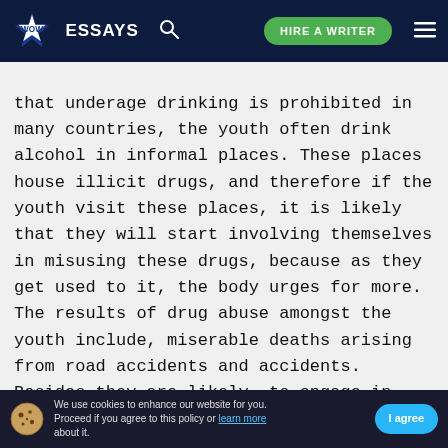WOW ESSAYS | HIRE A WRITER
that underage drinking is prohibited in many countries, the youth often drink alcohol in informal places. These places house illicit drugs, and therefore if the youth visit these places, it is likely that they will start involving themselves in misusing these drugs, because as they get used to it, the body urges for more. The results of drug abuse amongst the youth include, miserable deaths arising from road accidents and accidents. Besides they are likely, to engage in criminal activities because of a ruined fu
We use cookies to enhance our website for you. Proceed if you agree to this policy or learn more about it. I agree